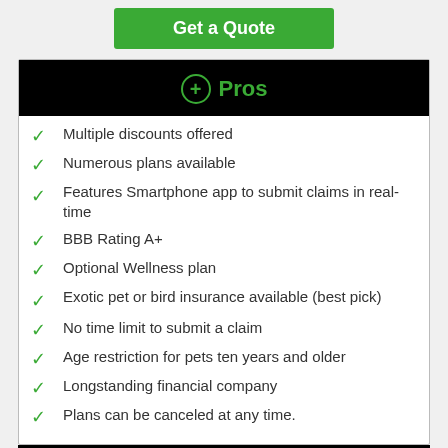Get a Quote
⊕ Pros
Multiple discounts offered
Numerous plans available
Features Smartphone app to submit claims in real-time
BBB Rating A+
Optional Wellness plan
Exotic pet or bird insurance available (best pick)
No time limit to submit a claim
Age restriction for pets ten years and older
Longstanding financial company
Plans can be canceled at any time.